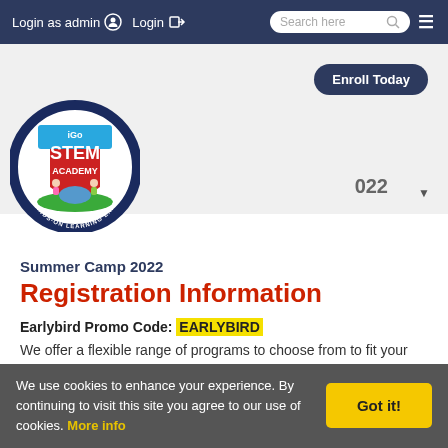Login as admin  Login
[Figure (logo): iGo STEM Academy circular logo with children and hands-on learning experience tagline]
2022
Enroll Today
Summer Camp 2022
Registration Information
Earlybird Promo Code: EARLYBIRD
We offer a flexible range of programs to choose from to fit your summer schedule! No matter the program, we ensure
We use cookies to enhance your experience. By continuing to visit this site you agree to our use of cookies. More info
Got it!